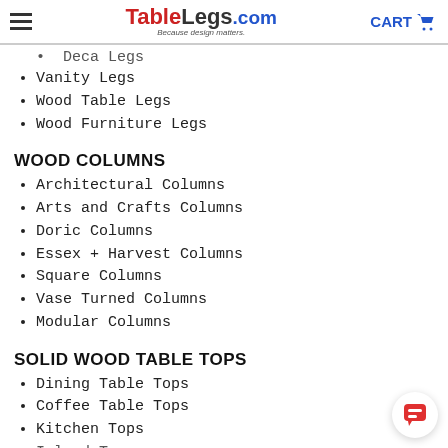TableLegs.com — Because design matters. CART
Deca Legs (partial, cut off at top)
Vanity Legs
Wood Table Legs
Wood Furniture Legs
WOOD COLUMNS
Architectural Columns
Arts and Crafts Columns
Doric Columns
Essex + Harvest Columns
Square Columns
Vase Turned Columns
Modular Columns
SOLID WOOD TABLE TOPS
Dining Table Tops
Coffee Table Tops
Kitchen Tops
Island Tops (partial, cut off at bottom)